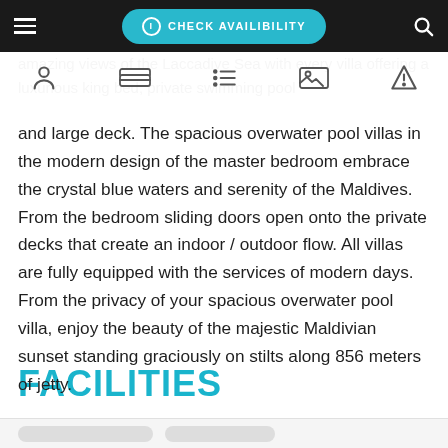CHECK AVAILIBILITY
amazing views of the Laccadive Sea with every villa offering a luxurious king bed, private swimming pool and large deck. The spacious overwater pool villas in the modern design of the master bedroom embrace the crystal blue waters and serenity of the Maldives. From the bedroom sliding doors open onto the private decks that create an indoor / outdoor flow. All villas are fully equipped with the services of modern days. From the privacy of your spacious overwater pool villa, enjoy the beauty of the majestic Maldivian sunset standing graciously on stilts along 856 meters of jetty.
FACILITIES